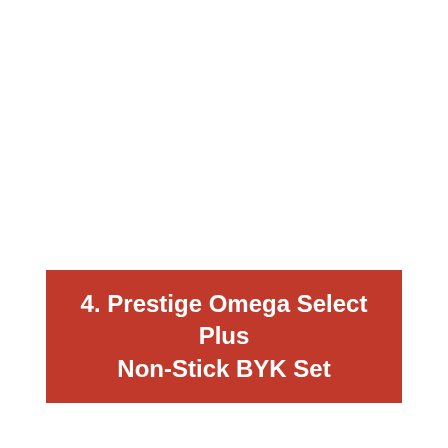4. Prestige Omega Select Plus Non-Stick BYK Set